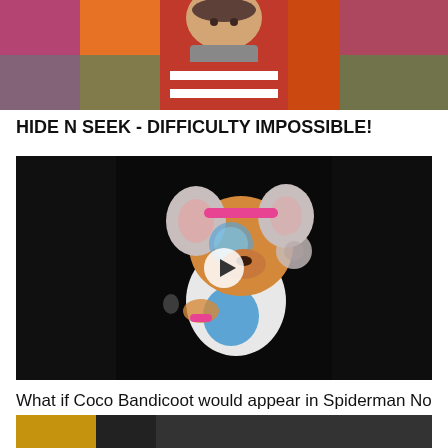[Figure (photo): Top portion of a thumbnail image showing a man in a red and white striped shirt (Waldo costume) in front of a colorful patterned background, partially cropped]
HIDE N SEEK - DIFFICULTY IMPOSSIBLE!
[Figure (screenshot): Video thumbnail showing a 3D animated character Coco Bandicoot from the Crash Bandicoot game, against a dark background, with a white circular play button overlay in the center]
What if Coco Bandicoot would appear in Spiderman No Way Home (2021) | 20th Century Studios Fanmade
[Figure (photo): Partially visible thumbnail at the bottom of the page, showing a dark image with yellow/orange elements, cropped]